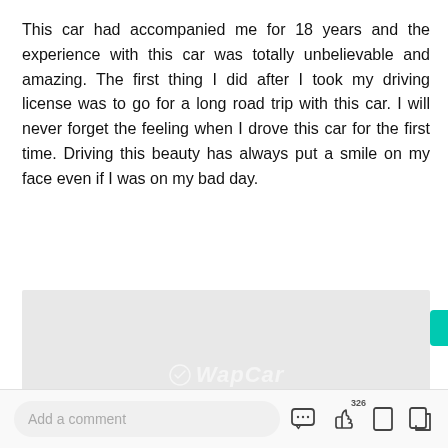This car had accompanied me for 18 years and the experience with this car was totally unbelievable and amazing. The first thing I did after I took my driving license was to go for a long road trip with this car. I will never forget the feeling when I drove this car for the first time. Driving this beauty has always put a smile on my face even if I was on my bad day.
[Figure (photo): Light grey placeholder image with WapCar watermark logo in center]
Add a comment
[Figure (other): Social action icons: comment bubble, thumbs up with count 326, bookmark, share]